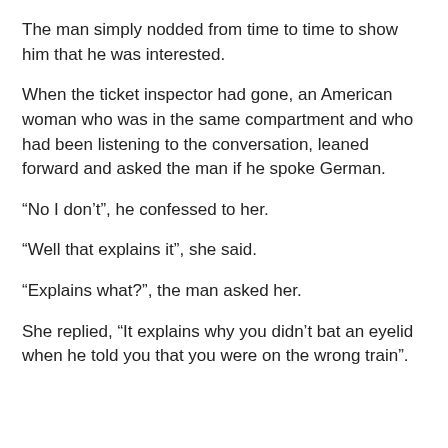The man simply nodded from time to time to show him that he was interested.
When the ticket inspector had gone, an American woman who was in the same compartment and who had been listening to the conversation, leaned forward and asked the man if he spoke German.
“No I don’t”, he confessed to her.
“Well that explains it”, she said.
“Explains what?”, the man asked her.
She replied, “It explains why you didn’t bat an eyelid when he told you that you were on the wrong train”.